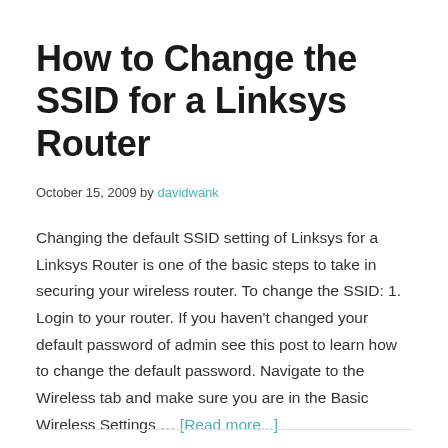How to Change the SSID for a Linksys Router
October 15, 2009 by davidwank
Changing the default SSID setting of Linksys for a Linksys Router is one of the basic steps to take in securing your wireless router. To change the SSID: 1. Login to your router. If you haven't changed your default password of admin see this post to learn how to change the default password. Navigate to the Wireless tab and make sure you are in the Basic Wireless Settings … [Read more...]